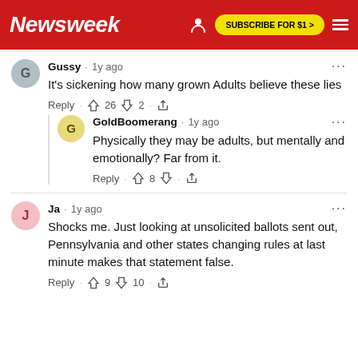Newsweek | SUBSCRIBE FOR $1 >
Gussy · 1y ago
It's sickening how many grown Adults believe these lies
Reply · 👍 26 👎 2 · share
GoldBoomerang · 1y ago
Physically they may be adults, but mentally and emotionally? Far from it.
Reply · 👍 8 👎 · share
Ja · 1y ago
Shocks me. Just looking at unsolicited ballots sent out, Pennsylvania and other states changing rules at last minute makes that statement false.
Reply · 👍 9 👎 10 · share